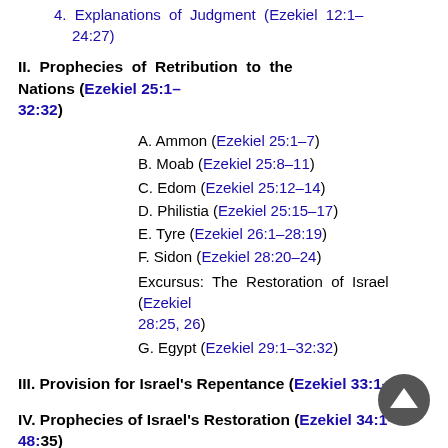4. Explanations of Judgment (Ezekiel 12:1–24:27)
II. Prophecies of Retribution to the Nations (Ezekiel 25:1–32:32)
A. Ammon (Ezekiel 25:1–7)
B. Moab (Ezekiel 25:8–11)
C. Edom (Ezekiel 25:12–14)
D. Philistia (Ezekiel 25:15–17)
E. Tyre (Ezekiel 26:1–28:19)
F. Sidon (Ezekiel 28:20–24)
Excursus: The Restoration of Israel (Ezekiel 28:25, 26)
G. Egypt (Ezekiel 29:1–32:32)
III. Provision for Israel's Repentance (Ezekiel 33:1–33)
IV. Prophecies of Israel's Restoration (Ezekiel 34:1–48:35)
A. Regathering of Israel to the Land (Ezekiel 34:1–37:28)